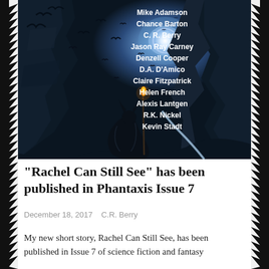[Figure (illustration): Book cover for Phantaxis Issue 7 showing a dark fantasy scene with a cloaked figure holding a torch in a rocky canyon under a blue moon, surrounded by flying bats/birds. Author names listed on the cover include Mike Adamson, Chance Barton, C.R. Berry, Jason Ray Carney, Denzell Cooper, D.A. D'Amico, Claire Fitzpatrick, Helen French, Alexis Lantgen, R.K. Nickel, Kevin Stadt.]
“Rachel Can Still See” has been published in Phantaxis Issue 7
December 18, 2017   C.R. Berry
My new short story, Rachel Can Still See, has been published in Issue 7 of science fiction and fantasy